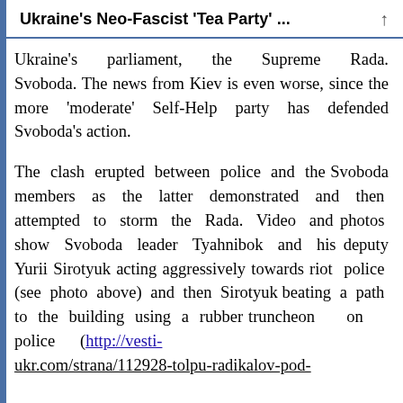Ukraine's Neo-Fascist 'Tea Party' ...
Ukraine's parliament, the Supreme Rada. Svoboda. The news from Kiev is even worse, since the more 'moderate' Self-Help party has defended Svoboda's action.
The clash erupted between police and the Svoboda members as the latter demonstrated and then attempted to storm the Rada. Video and photos show Svoboda leader Tyahnibok and his deputy Yurii Sirotyuk acting aggressively towards riot police (see photo above) and then Sirotyuk beating a path to the building using a rubber truncheon on police (http://vesti-ukr.com/strana/112928-tolpu-radikalov-pod-